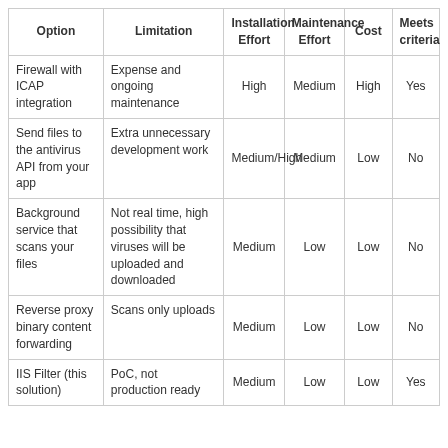| Option | Limitation | Installation Effort | Maintenance Effort | Cost | Meets criteria |
| --- | --- | --- | --- | --- | --- |
| Firewall with ICAP integration | Expense and ongoing maintenance | High | Medium | High | Yes |
| Send files to the antivirus API from your app | Extra unnecessary development work | Medium/High | Medium | Low | No |
| Background service that scans your files | Not real time, high possibility that viruses will be uploaded and downloaded | Medium | Low | Low | No |
| Reverse proxy binary content forwarding | Scans only uploads | Medium | Low | Low | No |
| IIS Filter (this solution) | PoC, not production ready | Medium | Low | Low | Yes |